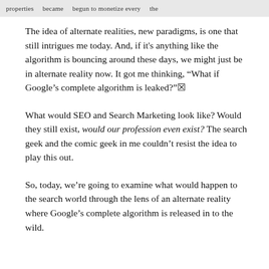properties   became   begun to monetize every   the
The idea of alternate realities, new paradigms, is one that still intrigues me today. And, if it's anything like the algorithm is bouncing around these days, we might just be in alternate reality now. It got me thinking, “What if Google’s complete algorithm is leaked?”☒
What would SEO and Search Marketing look like? Would they still exist, would our profession even exist? The search geek and the comic geek in me couldn't resist the idea to play this out.
So, today, we’re going to examine what would happen to the search world through the lens of an alternate reality where Google’s complete algorithm is released in to the wild.